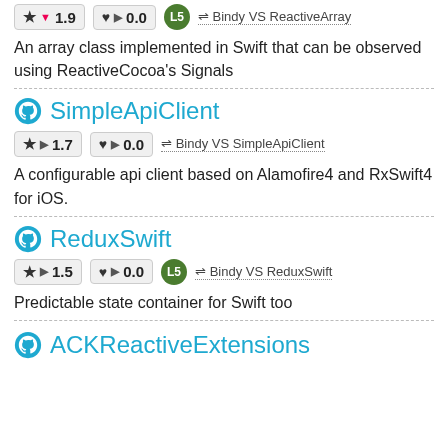★ ▼ 1.9   ♥ ▶ 0.0   L5   ⇌ Bindy VS ReactiveArray
An array class implemented in Swift that can be observed using ReactiveCocoa's Signals
SimpleApiClient
★ ▶ 1.7   ♥ ▶ 0.0   ⇌ Bindy VS SimpleApiClient
A configurable api client based on Alamofire4 and RxSwift4 for iOS.
ReduxSwift
★ ▶ 1.5   ♥ ▶ 0.0   L5   ⇌ Bindy VS ReduxSwift
Predictable state container for Swift too
ACKReactiveExtensions